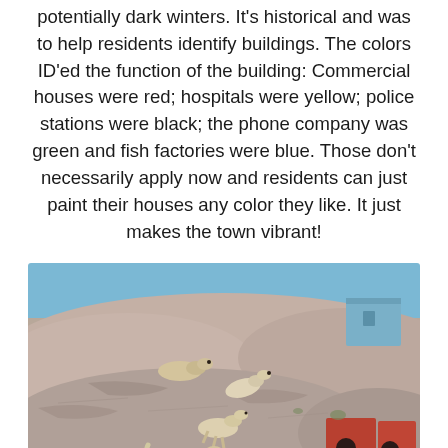potentially dark winters. It's historical and was to help residents identify buildings. The colors ID'ed the function of the building: Commercial houses were red; hospitals were yellow; police stations were black; the phone company was green and fish factories were blue. Those don't necessarily apply now and residents can just paint their houses any color they like. It just makes the town vibrant!
[Figure (photo): Photo of sled dogs running and playing on rocky granite terrain. Several white/light-colored dogs are visible at different levels on the sloped rocks. In the background upper right is a blue-painted building, and on the lower right are red structures with circular holes. The scene appears to be in Greenland.]